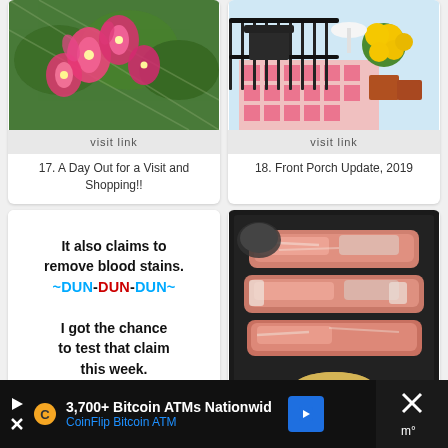[Figure (photo): Pink stargazer lily flowers against a lattice fence background]
visit link
17. A Day Out for a Visit and Shopping!!
[Figure (photo): Outdoor porch/balcony with patterned pink rug, iron railing, and yellow flowers in pots]
visit link
18. Front Porch Update, 2019
[Figure (photo): Blog post image with meme text: It also claims to remove blood stains. ~DUN-DUN-DUN~ I got the chance to test that claim this week.]
visit link
[Figure (photo): Raw pork ribs on a dark tray with a small bowl of seasoning/mustard]
visit link
3,700+ Bitcoin ATMs Nationwid CoinFlip Bitcoin ATM